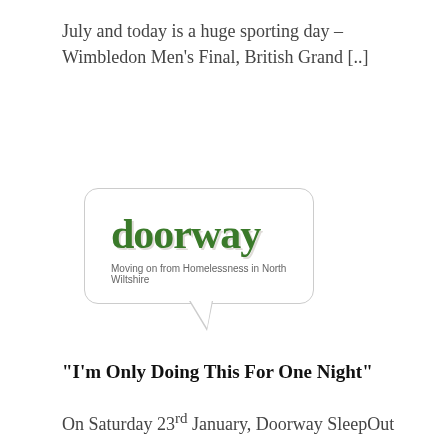July and today is a huge sporting day – Wimbledon Men's Final, British Grand [..]
[Figure (logo): Doorway charity logo — speech bubble containing the word 'doorway' in bold green serif font with tagline 'Moving on from Homelessness in North Wiltshire']
“I’m Only Doing This For One Night”
On Saturday 23rd January, Doorway SleepOut